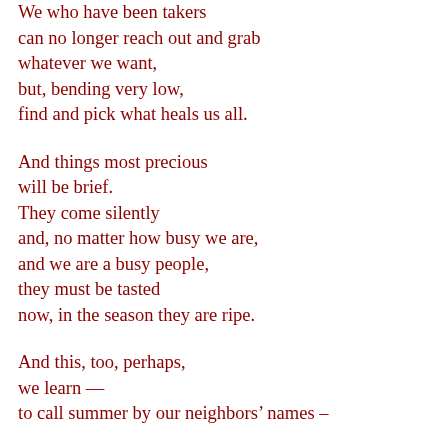We who have been takers
can no longer reach out and grab
whatever we want,
but, bending very low,
find and pick what heals us all.

And things most precious
will be brief.
They come silently
and, no matter how busy we are,
and we are a busy people,
they must be tasted
now, in the season they are ripe.

And this, too, perhaps,
we learn —
to call summer by our neighbors' names –
not July and August, but...